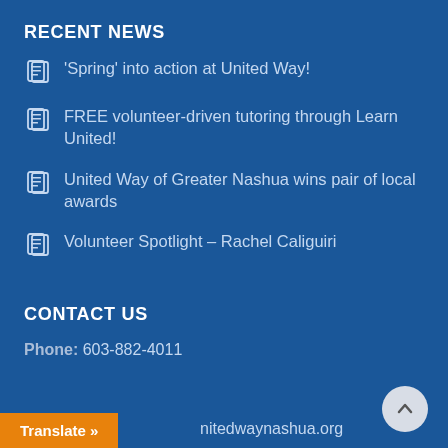RECENT NEWS
'Spring' into action at United Way!
FREE volunteer-driven tutoring through Learn United!
United Way of Greater Nashua wins pair of local awards
Volunteer Spotlight – Rachel Caliguiri
CONTACT US
Phone: 603-882-4011
nitedwaynashua.org
Translate »